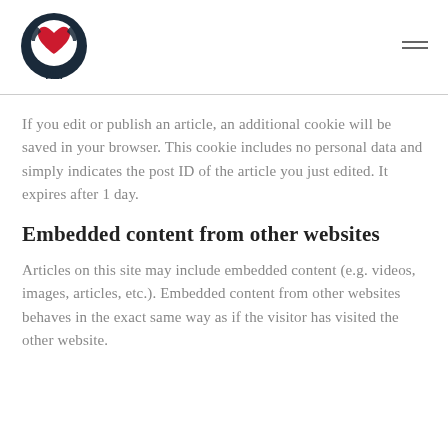[Figure (logo): HLI logo: dark navy circle with red heart and two hands/dove shapes, with 'HLI' text below]
If you edit or publish an article, an additional cookie will be saved in your browser. This cookie includes no personal data and simply indicates the post ID of the article you just edited. It expires after 1 day.
Embedded content from other websites
Articles on this site may include embedded content (e.g. videos, images, articles, etc.). Embedded content from other websites behaves in the exact same way as if the visitor has visited the other website.